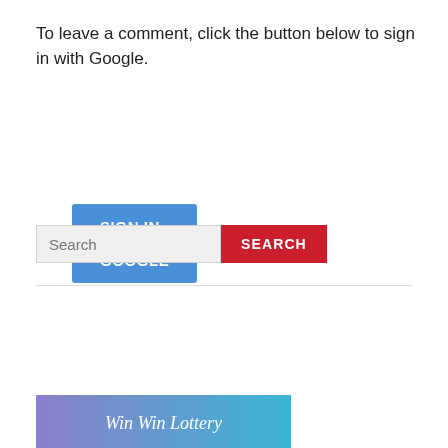To leave a comment, click the button below to sign in with Google.
[Figure (screenshot): Blue 'SIGN IN WITH GOOGLE' button]
[Figure (screenshot): Search bar with text input field showing placeholder 'Search' and a red 'SEARCH' button]
[Figure (screenshot): Win Win Lottery banner with gradient background from purple to blue]